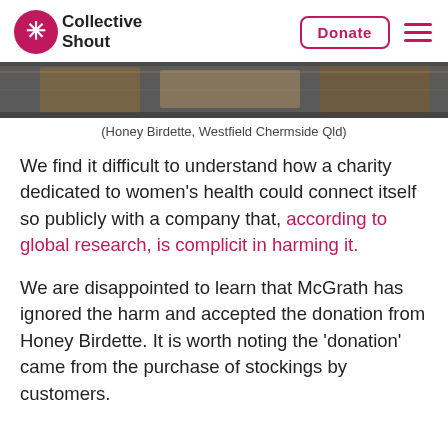Collective Shout | Donate
[Figure (photo): Partial photo of Honey Birdette store interior at Westfield Chermside QLD, showing glass display cases and storefront lighting.]
(Honey Birdette, Westfield Chermside Qld)
We find it difficult to understand how a charity dedicated to women’s health could connect itself so publicly with a company that, according to global research, is complicit in harming it.
We are disappointed to learn that McGrath has ignored the harm and accepted the donation from Honey Birdette. It is worth noting the ‘donation’ came from the purchase of stockings by customers.